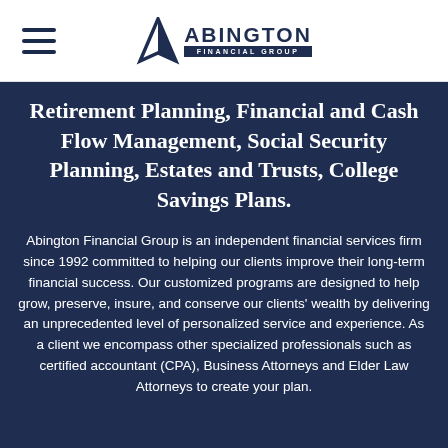Abington Financial Group
Retirement Planning, Financial and Cash Flow Management, Social Security Planning, Estates and Trusts, College Savings Plans.
Abington Financial Group is an independent financial services firm since 1992 committed to helping our clients improve their long-term financial success. Our customized programs are designed to help grow, preserve, insure, and conserve our clients' wealth by delivering an unprecedented level of personalized service and experience. As a client we encompass other specialized professionals such as certified accountant (CPA), Business Attorneys and Elder Law Attorneys to create your plan.